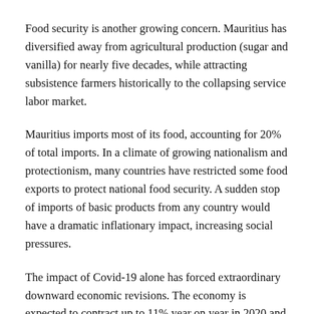Food security is another growing concern. Mauritius has diversified away from agricultural production (sugar and vanilla) for nearly five decades, while attracting subsistence farmers historically to the collapsing service labor market.
Mauritius imports most of its food, accounting for 20% of total imports. In a climate of growing nationalism and protectionism, many countries have restricted some food exports to protect national food security. A sudden stop of imports of basic products from any country would have a dramatic inflationary impact, increasing social pressures.
The impact of Covid-19 alone has forced extraordinary downward economic revisions. The economy is expected to contract up to 11% year on year in 2020 and unemployment will double from 7% to 17.5%. Faced with headwinds in the economy and regulation, Moody's and Fitch revised the outlook for the Mauritius sovereign bond rating in line with their...